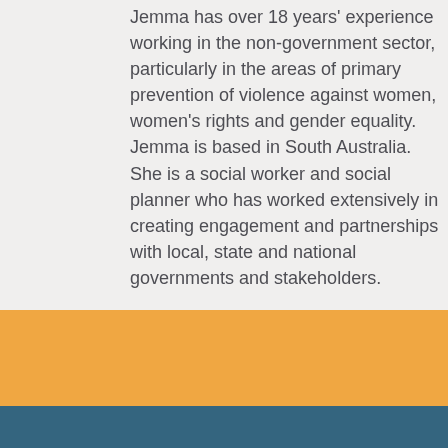Jemma has over 18 years' experience working in the non-government sector, particularly in the areas of primary prevention of violence against women, women's rights and gender equality. Jemma is based in South Australia. She is a social worker and social planner who has worked extensively in creating engagement and partnerships with local, state and national governments and stakeholders.